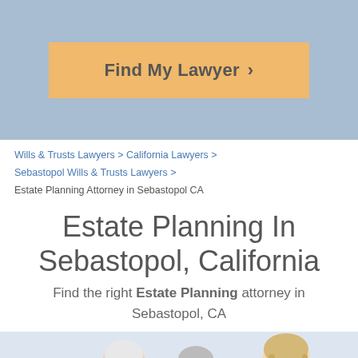[Figure (other): Orange 'Find My Lawyer >' button on a blue-gray header background]
Wills & Trusts Lawyers > California Lawyers > Sebastopol Wills & Trusts Lawyers > Estate Planning Attorney in Sebastopol CA
Estate Planning In Sebastopol, California
Find the right Estate Planning attorney in Sebastopol, CA
[Figure (photo): Photo of two elderly people (a woman and a man) meeting with a younger blonde woman, presumably a lawyer, reviewing documents together]